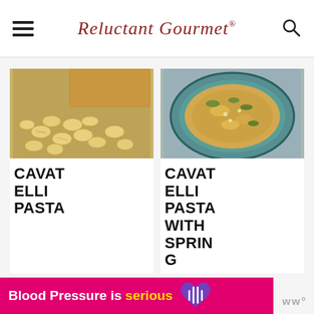Reluctant Gourmet
[Figure (photo): Photo of cavatelli pasta pieces scattered on a baking mat with a wooden board in background]
CAVATELLI PASTA
[Figure (photo): Photo of cavatelli pasta with spring vegetables served in a decorative blue plate]
CAVATELLI PASTA WITH SPRING
[Figure (infographic): Advertisement banner: Blood Pressure is serious with purple heart icon]